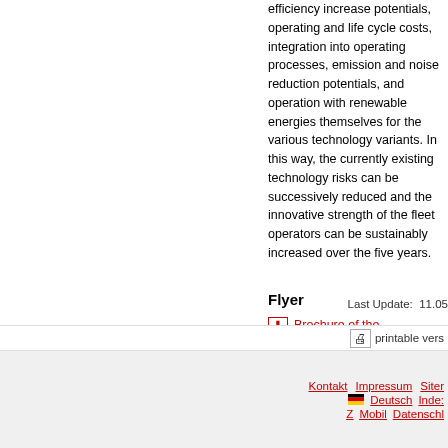efficiency increase potentials, operating and life cycle costs, integration into operating processes, emission and noise reduction potentials, and operation with renewable energies themselves for the various technology variants. In this way, the currently existing technology risks can be successively reduced and the innovative strength of the fleet operators can be sustainably increased over the five years.
Flyer
Brochure of the Mobilit2Grid research project (german)
Last Update:  11.05
printable vers
Kontakt  Impressum  Siter  Deutsch  Inde:  Z  Mobil  Datenschl